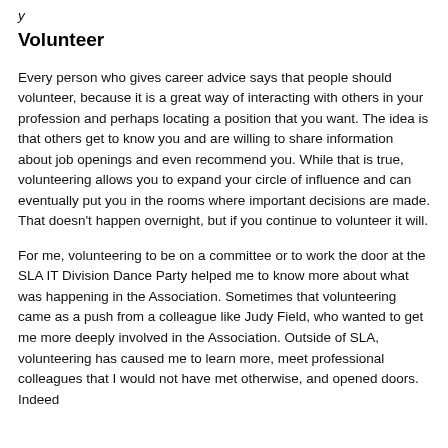y
Volunteer
Every person who gives career advice says that people should volunteer, because it is a great way of interacting with others in your profession and perhaps locating a position that you want. The idea is that others get to know you and are willing to share information about job openings and even recommend you. While that is true, volunteering allows you to expand your circle of influence and can eventually put you in the rooms where important decisions are made. That doesn't happen overnight, but if you continue to volunteer it will.
For me, volunteering to be on a committee or to work the door at the SLA IT Division Dance Party helped me to know more about what was happening in the Association. Sometimes that volunteering came as a push from a colleague like Judy Field, who wanted to get me more deeply involved in the Association. Outside of SLA, volunteering has caused me to learn more, meet professional colleagues that I would not have met otherwise, and opened doors. Indeed